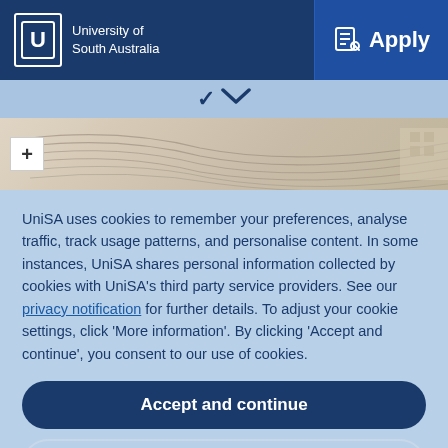University of South Australia — Apply
[Figure (screenshot): Map view with zoom-in (+) button and aerial/road map imagery]
UniSA uses cookies to remember your preferences, analyse traffic, track usage patterns, and personalise content. In some instances, UniSA shares personal information collected by cookies with UniSA's third party service providers. See our privacy notification for further details. To adjust your cookie settings, click 'More information'. By clicking 'Accept and continue', you consent to our use of cookies.
Accept and continue
More information